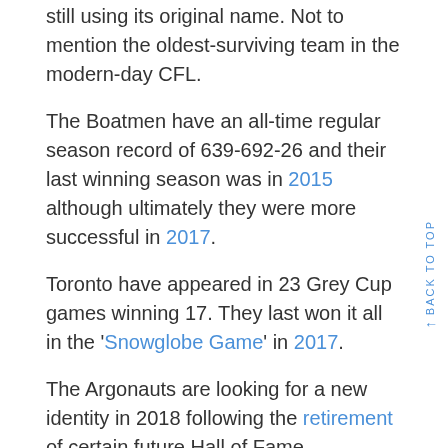oldest surviving pro sports team in North America still using its original name. Not to mention the oldest-surviving team in the modern-day CFL.
The Boatmen have an all-time regular season record of 639-692-26 and their last winning season was in 2015 although ultimately they were more successful in 2017.
Toronto have appeared in 23 Grey Cup games winning 17. They last won it all in the 'Snowglobe Game' in 2017.
The Argonauts are looking for a new identity in 2018 following the retirement of certain future Hall of Fame quarterback Ricky Ray.
Team colours: Cambridge Blue, Oxford Blue and